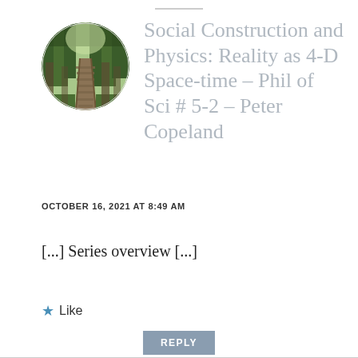[Figure (photo): Circular avatar image showing a forest path with wooden boardwalk through green trees]
Social Construction and Physics: Reality as 4-D Space-time – Phil of Sci # 5-2 – Peter Copeland
OCTOBER 16, 2021 AT 8:49 AM
[...] Series overview [...]
★ Like
REPLY